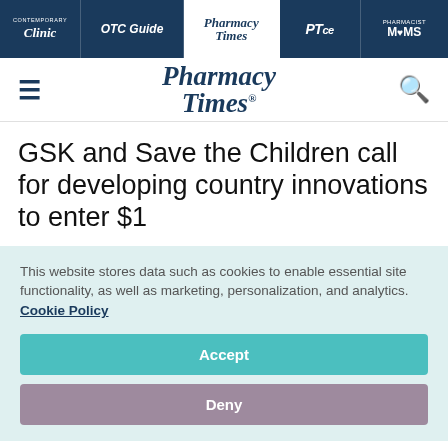Contemporary Clinic | OTC Guide | Pharmacy Times | PTce | Pharmacist Moms
[Figure (logo): Pharmacy Times logo with hamburger menu and search icon]
GSK and Save the Children call for developing country innovations to enter $1
This website stores data such as cookies to enable essential site functionality, as well as marketing, personalization, and analytics. Cookie Policy
Accept
Deny